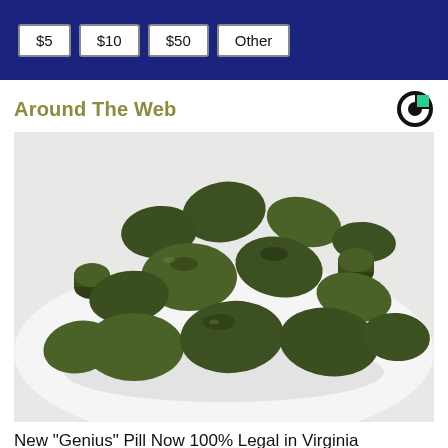$5  $10  $50  Other
Around The Web
[Figure (photo): A pile of dark green oval/round supplement tablets on a white plate.]
New "Genius" Pill Now 100% Legal in Virginia